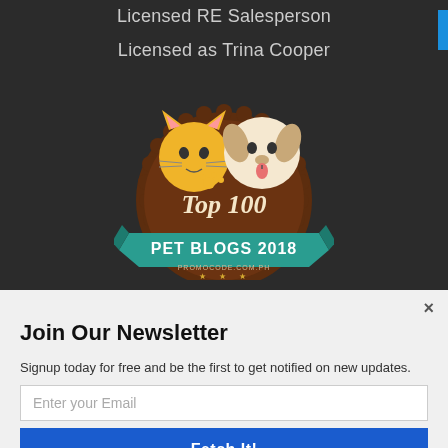Licensed RE Salesperson
Licensed as Trina Cooper
[Figure (illustration): Top 100 Pet Blogs 2018 badge from promocode.com.ph, featuring cartoon cat and dog illustrations on a brown scalloped circle badge with teal ribbon banner]
×
Join Our Newsletter
Signup today for free and be the first to get notified on new updates.
Enter your Email
Fetch It!